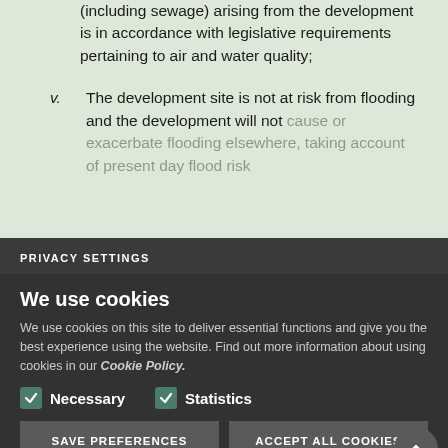(including sewage) arising from the development is in accordance with legislative requirements pertaining to air and water quality;
v. The development site is not at risk from flooding and the development will not cause or exacerbate flooding elsewhere, taking account of present day flood risk and potential future risk associated with climate change; and
Criteria relating to risk from coastal erosion or land instability, or will not exacerbate such risks. Criteria relating to sustainable
PRIVACY SETTINGS
We use cookies
We use cookies on this site to deliver essential functions and give you the best experience using the website. Find out more information about using cookies in our Cookie Policy.
Necessary
Statistics
SAVE PREFERENCES
ACCEPT ALL COOKIES